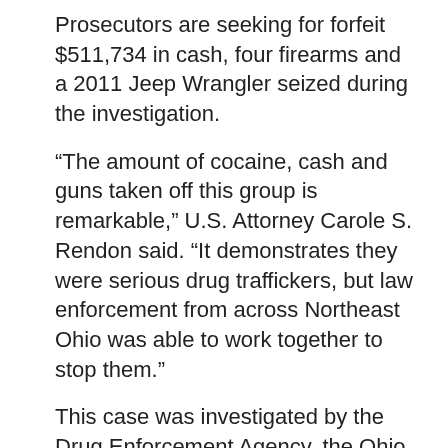Prosecutors are seeking for forfeit $511,734 in cash, four firearms and a 2011 Jeep Wrangler seized during the investigation.
“The amount of cocaine, cash and guns taken off this group is remarkable,” U.S. Attorney Carole S. Rendon said. “It demonstrates they were serious drug traffickers, but law enforcement from across Northeast Ohio was able to work together to stop them.”
This case was investigated by the Drug Enforcement Agency, the Ohio Bureau of Criminal Investigation, the Medina County Drug Task Force and the Ohio Highway Patrol with assistance from members of the Lake County Narcotics Agency, Cuyahoga Sheriff’s Office, Cleveland Heights Police Department, Cleveland Division of Police, Lorain County Drug Task Force, Ashtabula County Sheriff’s Office, and Customs